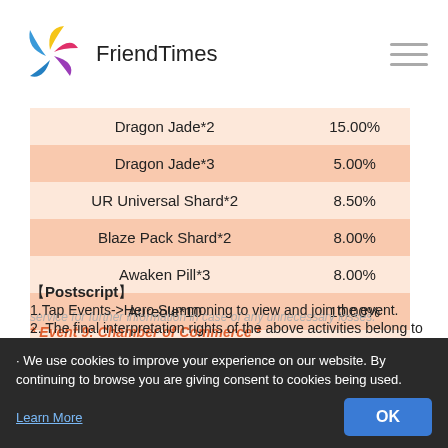FriendTimes
| Item | Rate |
| --- | --- |
| Dragon Jade*2 | 15.00% |
| Dragon Jade*3 | 5.00% |
| UR Universal Shard*2 | 8.50% |
| Blaze Pack Shard*2 | 8.00% |
| Awaken Pill*3 | 8.00% |
| Aureole*10 | 10.00% |
| Lv. 4 Gem Pack*1 | 5.00% |
| Gear Refine Stone*10 | 7.00% |
| Upgrade Stone*10 | 10.00% |
【Postscript】
1.Tap Events->Hero Summoning to view and join the event.
2. The final interpretation rights of the above activities belong to the official. If you have any problems for the above explanation, please contact customer service for further information in case of any unnecessary losses.
· We use cookies to improve your experience on our website. By continuing to browse you are giving consent to cookies being used.
Learn More
OK